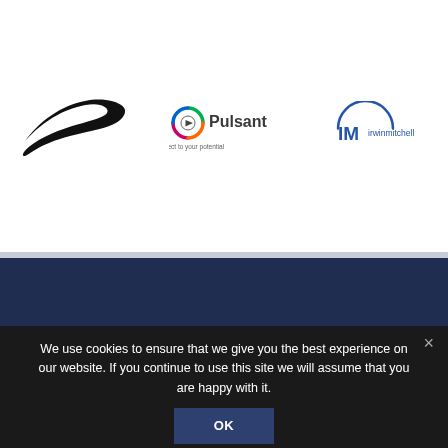[Figure (logo): Nike swoosh logo in black]
[Figure (logo): Pulsant logo with circular icon and tagline 'Connect to your potential']
[Figure (logo): Irwin Mitchell (IM) logo in blue]
[Figure (illustration): UK Union Jack flag icon with crossed cricket bats or chevron overlay on dark navy background]
We use cookies to ensure that we give you the best experience on our website. If you continue to use this site we will assume that you are happy with it.
OK